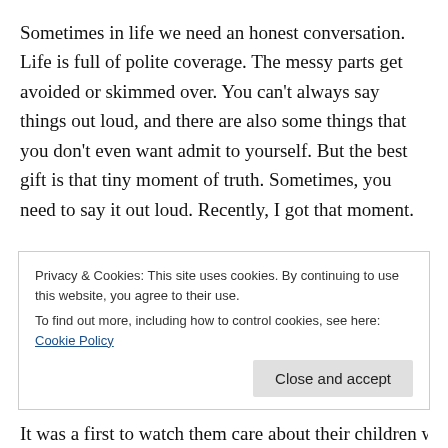Sometimes in life we need an honest conversation. Life is full of polite coverage. The messy parts get avoided or skimmed over. You can't always say things out loud, and there are also some things that you don't even want admit to yourself. But the best gift is that tiny moment of truth. Sometimes, you need to say it out loud. Recently, I got that moment.

We met a friend for drinks. He is the father of three daughters. His oldest is four and his youngest was born just six weeks ago. He and my husband have known each
Privacy & Cookies: This site uses cookies. By continuing to use this website, you agree to their use.
To find out more, including how to control cookies, see here: Cookie Policy
[Close and accept]
It was a first to watch them care about their children when they had